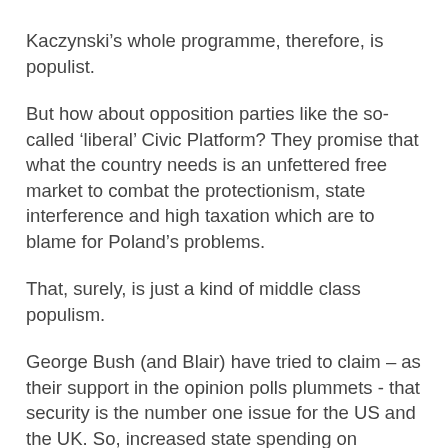Kaczynski’s whole programme, therefore, is populist.
But how about opposition parties like the so-called ‘liberal’ Civic Platform? They promise that what the country needs is an unfettered free market to combat the protectionism, state interference and high taxation which are to blame for Poland’s problems.
That, surely, is just a kind of middle class populism.
George Bush (and Blair) have tried to claim – as their support in the opinion polls plummets - that security is the number one issue for the US and the UK. So, increased state spending on security and defense, a crackdown on civil liberties and the invasion of other countries are justified because ‘the nation and our way of life is under threat’.
That’s a very populist rhetoric.
The truth these days is that, in this post-ideological world of managerial politics, where policy is driven by focus groups,